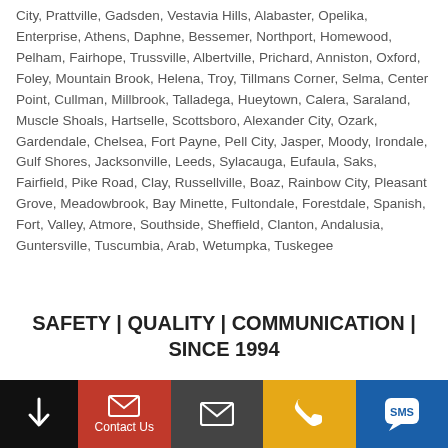City, Prattville, Gadsden, Vestavia Hills, Alabaster, Opelika, Enterprise, Athens, Daphne, Bessemer, Northport, Homewood, Pelham, Fairhope, Trussville, Albertville, Prichard, Anniston, Oxford, Foley, Mountain Brook, Helena, Troy, Tillmans Corner, Selma, Center Point, Cullman, Millbrook, Talladega, Hueytown, Calera, Saraland, Muscle Shoals, Hartselle, Scottsboro, Alexander City, Ozark, Gardendale, Chelsea, Fort Payne, Pell City, Jasper, Moody, Irondale, Gulf Shores, Jacksonville, Leeds, Sylacauga, Eufaula, Saks, Fairfield, Pike Road, Clay, Russellville, Boaz, Rainbow City, Pleasant Grove, Meadowbrook, Bay Minette, Fultondale, Forestdale, Spanish, Fort, Valley, Atmore, Southside, Sheffield, Clanton, Andalusia, Guntersville, Tuscumbia, Arab, Wetumpka, Tuskegee
SAFETY | QUALITY | COMMUNICATION | SINCE 1994
WAREHOUSE FLOOR MARKING LINE STRIPING – MCCALLA AL